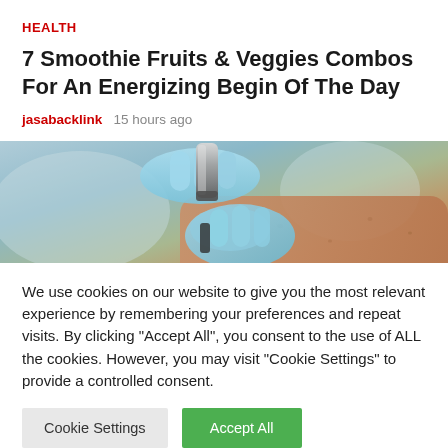HEALTH
7 Smoothie Fruits & Veggies Combos For An Energizing Begin Of The Day
jasabacklink   15 hours ago
[Figure (photo): Close-up photo of a person wearing blue medical gloves holding a metallic object near someone's arm/wrist, medical or health context]
We use cookies on our website to give you the most relevant experience by remembering your preferences and repeat visits. By clicking "Accept All", you consent to the use of ALL the cookies. However, you may visit "Cookie Settings" to provide a controlled consent.
Cookie Settings   Accept All